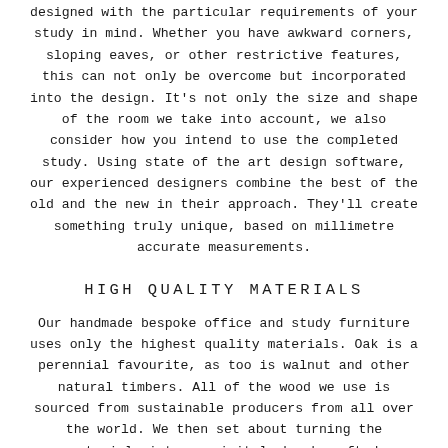designed with the particular requirements of your study in mind. Whether you have awkward corners, sloping eaves, or other restrictive features, this can not only be overcome but incorporated into the design. It’s not only the size and shape of the room we take into account, we also consider how you intend to use the completed study. Using state of the art design software, our experienced designers combine the best of the old and the new in their approach. They’ll create something truly unique, based on millimetre accurate measurements.
HIGH QUALITY MATERIALS
Our handmade bespoke office and study furniture uses only the highest quality materials. Oak is a perennial favourite, as too is walnut and other natural timbers. All of the wood we use is sourced from sustainable producers from all over the world. We then set about turning the materials into exquisitely hand crafted furniture. Mass produced furniture may be cheaper, but the